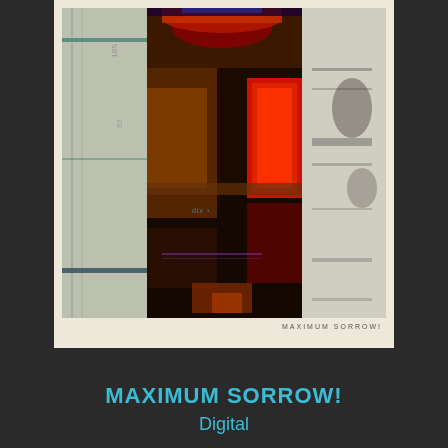[Figure (photo): Album cover for MAXIMUM SORROW! showing abstract dark art with red and brown tones, displayed on a cream/off-white background mat with the text MAXIMUM SORROW! printed small at bottom right]
MAXIMUM SORROW!
Digital
[Figure (photo): Partial view of a dark/black t-shirt showing the collar and upper chest area]